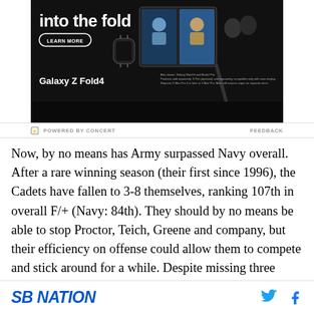[Figure (screenshot): Samsung Galaxy Z Fold4 advertisement showing a foldable phone with video call on screen, a Galaxy Watch, earbuds, and a stylus on a dark background. Text reads 'into the fold' with a LEARN MORE button and 'Galaxy Z Fold4' branding.]
⚡ POWERED BY CONCERT   FEEDBACK
Now, by no means has Army surpassed Navy overall. After a rare winning season (their first since 1996), the Cadets have fallen to 3-8 themselves, ranking 107th in overall F/+ (Navy: 84th). They should by no means be able to stop Proctor, Teich, Greene and company, but their efficiency on offense could allow them to compete and stick around for a while. Despite missing three
SBNATION